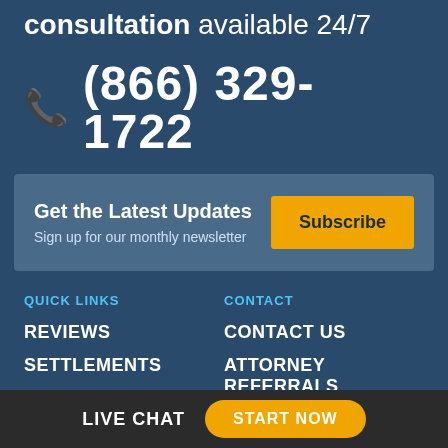consultation available 24/7
(866) 329-1722
Get the Latest Updates
Sign up for our monthly newsletter
Subscribe
QUICK LINKS
CONTACT
REVIEWS
CONTACT US
SETTLEMENTS
ATTORNEY REFERRALS
LOCATIONS SERVED
CAREERS
LIVE CHAT  START NOW